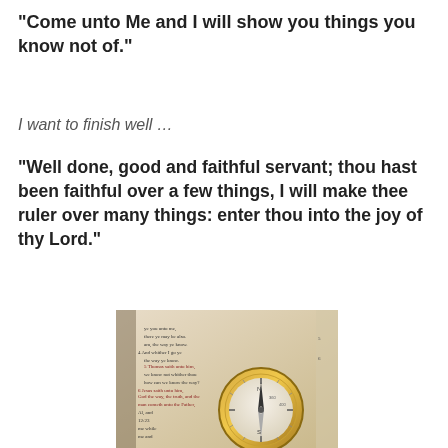“Come unto Me and I will show you things you know not of.”
I want to finish well …
“Well done, good and faithful servant; thou hast been faithful over a few things, I will make thee ruler over many things: enter thou into the joy of thy Lord.”
[Figure (photo): Open Bible showing John 14 verses with a golden compass resting on the pages]